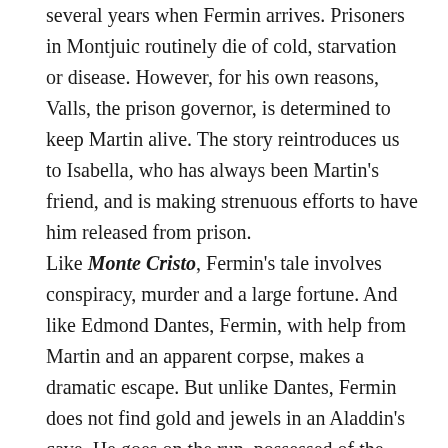several years when Fermin arrives. Prisoners in Montjuic routinely die of cold, starvation or disease. However, for his own reasons, Valls, the prison governor, is determined to keep Martin alive. The story reintroduces us to Isabella, who has always been Martin's friend, and is making strenuous efforts to have him released from prison.
Like Monte Cristo, Fermin's tale involves conspiracy, murder and a large fortune. And like Edmond Dantes, Fermin, with help from Martin and an apparent corpse, makes a dramatic escape. But unlike Dantes, Fermin does not find gold and jewels in an Aladdin's cave. He goes on the run, possessed of the secret that, when told, will shatter Daniel's perception of himself